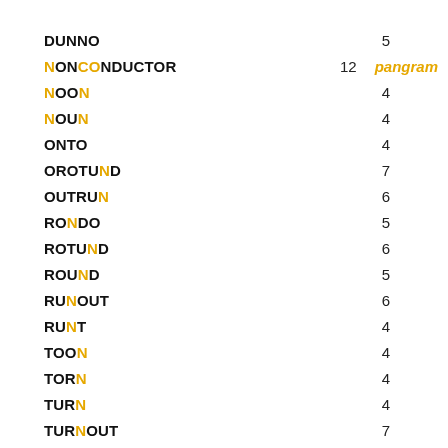DUNNO 5
NONCONDUCTOR 12 pangram
NOON 4
NOUN 4
ONTO 4
OROTUND 7
OUTRUN 6
RONDO 5
ROTUND 6
ROUND 5
RUNOUT 6
RUNT 4
TOON 4
TORN 4
TURN 4
TURNOUT 7
UDON 4